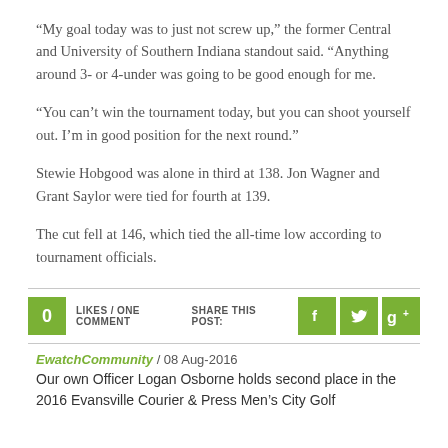“My goal today was to just not screw up,” the former Central and University of Southern Indiana standout said. “Anything around 3- or 4-under was going to be good enough for me.
“You can't win the tournament today, but you can shoot yourself out. I’m in good position for the next round.”
Stewie Hobgood was alone in third at 138. Jon Wagner and Grant Saylor were tied for fourth at 139.
The cut fell at 146, which tied the all-time low according to tournament officials.
0 LIKES / ONE COMMENT   SHARE THIS POST: [Facebook] [Twitter] [G+]
EwatchCommunity / 08 Aug-2016
Our own Officer Logan Osborne holds second place in the 2016 Evansville Courier & Press Men’s City Golf